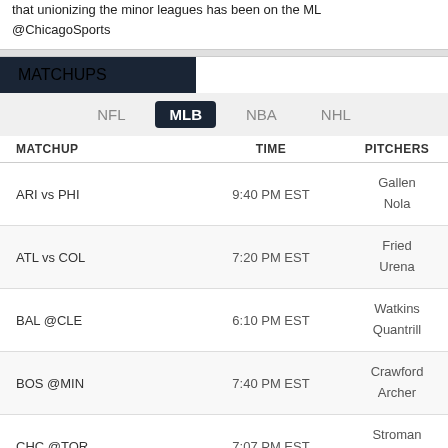that unionizing the minor leagues has been on the ML
@ChicagoSports
MATCHUPS
NFL   MLB   NBA   NHL
| MATCHUP | TIME | PITCHERS |
| --- | --- | --- |
| ARI vs PHI | 9:40 PM EST | Gallen
Nola |
| ATL vs COL | 7:20 PM EST | Fried
Urena |
| BAL @CLE | 6:10 PM EST | Watkins
Quantrill |
| BOS @MIN | 7:40 PM EST | Crawford
Archer |
| CHC @TOR | 7:07 PM EST | Stroman
Gausman |
| CHW vs KC | 8:10 PM EST | Giolito
... |